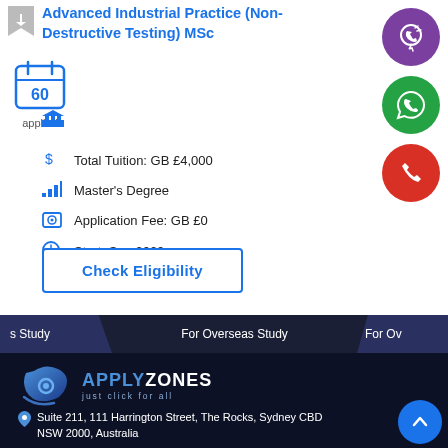Advanced Industrial Practice (Non-Destructive Testing) MSc
60 applied
Total Tuition: GB £4,000
Master's Degree
Application Fee: GB £0
Start: Sep 2022
Check Eligibility
[Figure (logo): ApplyZones logo with tagline 'just click for all']
Suite 211, 111 Harrington Street, The Rocks, Sydney CBD NSW 2000, Australia